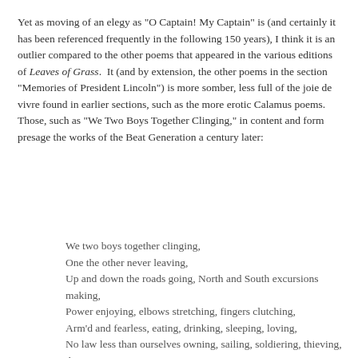Yet as moving of an elegy as "O Captain! My Captain" is (and certainly it has been referenced frequently in the following 150 years), I think it is an outlier compared to the other poems that appeared in the various editions of Leaves of Grass.  It (and by extension, the other poems in the section "Memories of President Lincoln") is more somber, less full of the joie de vivre found in earlier sections, such as the more erotic Calamus poems.  Those, such as "We Two Boys Together Clinging," in content and form presage the works of the Beat Generation a century later:
We two boys together clinging,
One the other never leaving,
Up and down the roads going, North and South excursions making,
Power enjoying, elbows stretching, fingers clutching,
Arm'd and fearless, eating, drinking, sleeping, loving,
No law less than ourselves owning, sailing, soldiering, thieving, threatening,
Misers, menials, priests alarming, air breathing, water